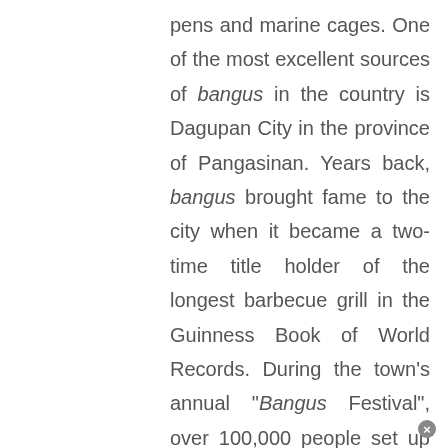pens and marine cages. One of the most excellent sources of bangus in the country is Dagupan City in the province of Pangasinan. Years back, bangus brought fame to the city when it became a two-time title holder of the longest barbecue grill in the Guinness Book of World Records. During the town's annual "Bangus Festival", over 100,000 people set up 2.006 km. of more than 2,000 grills and simultaneously barbecued about 25,000 pieces